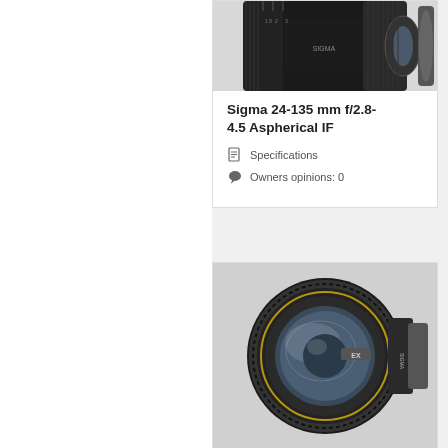[Figure (photo): Photo of Sigma 24-135mm f/2.8-4.5 Aspherical IF lens (top portion visible)]
Sigma 24-135 mm f/2.8-4.5 Aspherical IF
Specifications
Owners opinions: 0
[Figure (photo): Photo of Sigma 20mm f/1.8 EX DG Aspherical RF lens (front-facing view showing large front element)]
Sigma 20 mm f/1.8 EX DG Aspherical RF